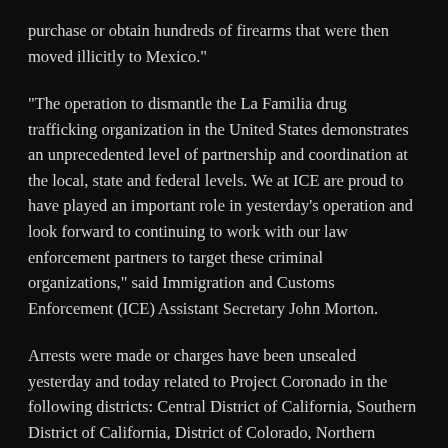purchase or obtain hundreds of firearms that were then moved illicitly to Mexico."
"The operation to dismantle the La Familia drug trafficking organization in the United States demonstrates an unprecedented level of partnership and coordination at the local, state and federal levels. We at ICE are proud to have played an important role in yesterday’s operation and look forward to continuing to work with our law enforcement partners to target these criminal organizations," said Immigration and Customs Enforcement (ICE) Assistant Secretary John Morton.
Arrests were made or charges have been unsealed yesterday and today related to Project Coronado in the following districts: Central District of California, Southern District of California, District of Colorado, Northern District of Georgia, District of Massachusetts, District of Minnesota, Southern District of Mississippi, Eastern District of Missouri, Northern